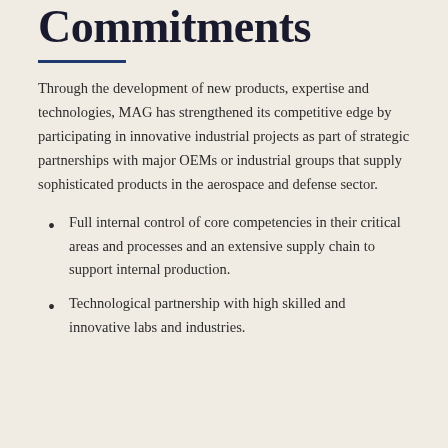Commitments
Through the development of new products, expertise and technologies, MAG has strengthened its competitive edge by participating in innovative industrial projects as part of strategic partnerships with major OEMs or industrial groups that supply sophisticated products in the aerospace and defense sector.
Full internal control of core competencies in their critical areas and processes and an extensive supply chain to support internal production.
Technological partnership with high skilled and innovative labs and industries.